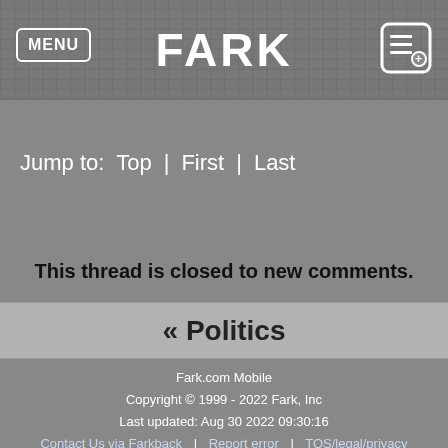FARK
Jump to:  Top  |  First  |  Last
This thread is closed to new comments.
« Politics
Fark.com Mobile
Copyright © 1999 - 2022 Fark, Inc
Last updated: Aug 30 2022 09:30:16
Contact Us via Farkback | Report error | TOS/legal/privacy
Do Not Sell My Personal Information
Full site